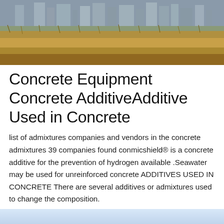[Figure (photo): Outdoor construction or industrial site photo showing dry brown grassland/brush in the foreground with industrial buildings and structures visible in the background under an overcast sky.]
Concrete Equipment Concrete AdditiveAdditive Used in Concrete
list of admixtures companies and vendors in the concrete admixtures 39 companies found conmicshield® is a concrete additive for the prevention of hydrogen available .Seawater may be used for unreinforced concrete ADDITIVES USED IN CONCRETE There are several additives or admixtures used to change the composition.
MORE INFO